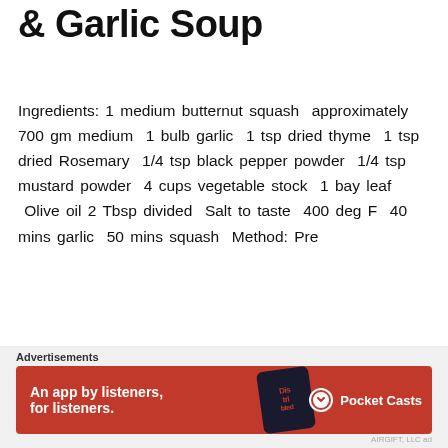& Garlic Soup
Ingredients: 1 medium butternut squash  approximately 700 gm medium  1 bulb garlic  1 tsp dried thyme  1 tsp dried Rosemary  1/4 tsp black pepper powder  1/4 tsp mustard powder  4 cups vegetable stock  1 bay leaf  Olive oil 2 Tbsp divided  Salt to taste  400 deg F  40 mins garlic  50 mins squash  Method: Pre
Continue reading  →
lilsosorecipes   March 14, 2021   Uncategorized
Best Dairy Free soup, Dairy Free Butternut Squash Soup, Roasted Butternut Squash, Roasted Garlic, Spring Recipe
[Figure (infographic): Pocket Casts advertisement banner: red background with 'An app by listeners, for listeners.' text, phone graphic showing 'Dis tri bted', and Pocket Casts logo]